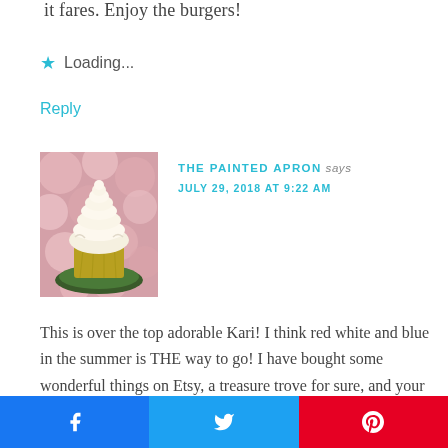it fares. Enjoy the burgers!
⭐ Loading...
Reply
[Figure (photo): A painting of a white frosted cupcake on a green plate against a pink bokeh background.]
THE PAINTED APRON says
JULY 29, 2018 AT 9:22 AM
This is over the top adorable Kari! I think red white and blue in the summer is THE way to go! I have bought some wonderful things on Etsy, a treasure trove for sure, and your burlap mats and accessories could not be cuter!
Facebook share | Twitter share | Pinterest share